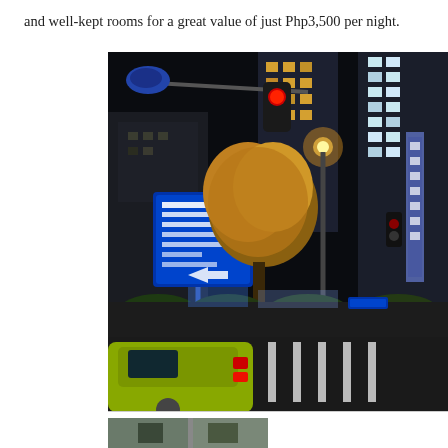and well-kept rooms for a great value of just Php3,500 per night.
[Figure (photo): Night street scene in a Japanese city showing a red traffic light on a signal arm, blue directional road signs in Japanese, an illuminated tree with golden-orange foliage, multi-story buildings with lit windows and vertical signs on the right, street lights, a yellow-green car (taxi) in the foreground lower left, and a pedestrian crosswalk. The scene appears to be a busy urban intersection at night.]
[Figure (photo): Partial view of another street/outdoor scene, cropped at bottom of page.]